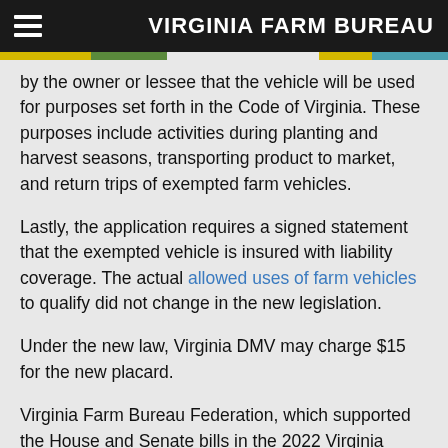VIRGINIA FARM BUREAU
by the owner or lessee that the vehicle will be used for purposes set forth in the Code of Virginia. These purposes include activities during planting and harvest seasons, transporting product to market, and return trips of exempted farm vehicles.
Lastly, the application requires a signed statement that the exempted vehicle is insured with liability coverage. The actual allowed uses of farm vehicles to qualify did not change in the new legislation.
Under the new law, Virginia DMV may charge $15 for the new placard.
Virginia Farm Bureau Federation, which supported the House and Senate bills in the 2022 Virginia…